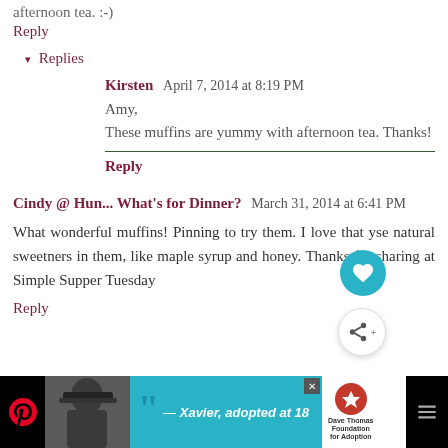afternoon tea. :-)
Reply
▾ Replies
Kirsten  April 7, 2014 at 8:19 PM
Amy,
These muffins are yummy with afternoon tea. Thanks!
Reply
Cindy @ Hun... What's for Dinner?  March 31, 2014 at 6:41 PM
What wonderful muffins! Pinning to try them. I love that you use natural sweetners in them, like maple syrup and honey. Thanks for sharing at Simple Supper Tuesday
Reply
[Figure (infographic): Advertisement banner at bottom: photo of person wearing hat, teal background with quote '— Xavier, adopted at 18', Dave Thomas Foundation for Adoption logo, close button X]